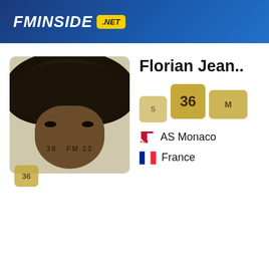FMINSIDE .NET
[Figure (photo): Player profile photo of Florian Jean with curly dark hair, showing face from nose up. Overlaid with score badge showing 36 and FM22 watermark text.]
Florian Jean..
36
AS Monaco
France